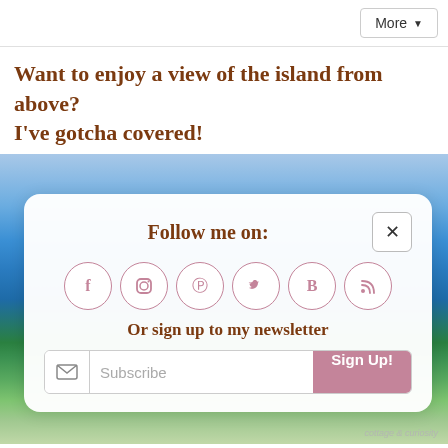More
Want to enjoy a view of the island from above? I've gotcha covered!
[Figure (photo): Aerial/coastal island view with blue ocean and green landscape, partially obscured by a social media follow popup overlay]
Follow me on:
Or sign up to my newsletter
Subscribe  Sign Up!